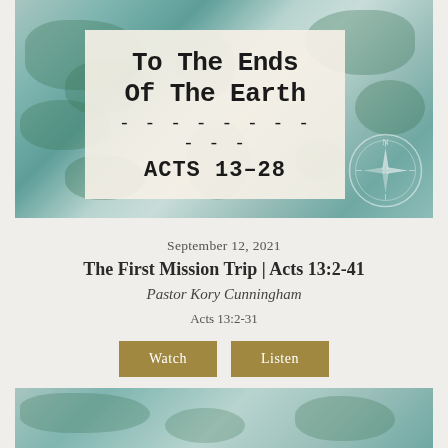[Figure (illustration): Sermon series banner image with watercolor world map background in teal/green tones, a cream/tan paper label in the center reading 'To The Ends Of The Earth — ACTS 13-28' in typewriter font, and a compass rose in the lower right corner.]
September 12, 2021
The First Mission Trip | Acts 13:2-41
Pastor Kory Cunningham
Acts 13:2-31
Watch
Listen
[Figure (illustration): Partial view of another sermon banner image with the same watercolor world map background in teal/green tones, partially cropped at page bottom.]